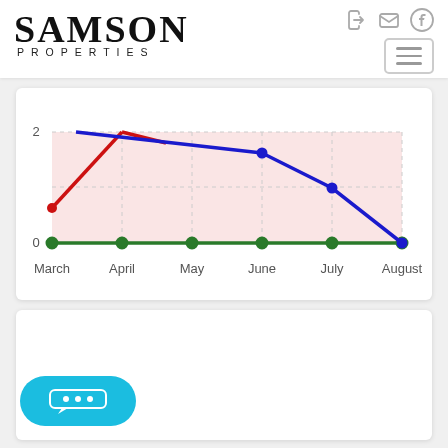[Figure (logo): Samson Properties logo with large serif SAMSON text and smaller spaced PROPERTIES text below]
[Figure (line-chart): ]